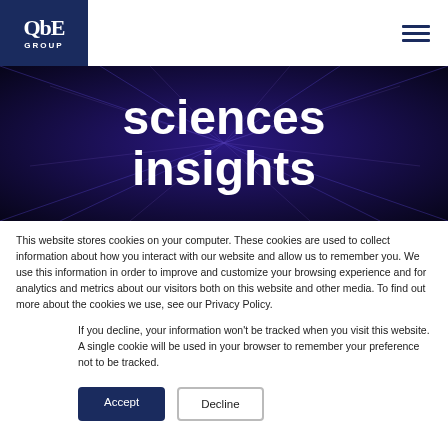[Figure (logo): QbE GROUP logo — white text on dark navy blue square background]
[Figure (illustration): Dark navy/purple abstract network lines background with large white bold text reading 'sciences insights']
sciences insights
This website stores cookies on your computer. These cookies are used to collect information about how you interact with our website and allow us to remember you. We use this information in order to improve and customize your browsing experience and for analytics and metrics about our visitors both on this website and other media. To find out more about the cookies we use, see our Privacy Policy.
If you decline, your information won't be tracked when you visit this website. A single cookie will be used in your browser to remember your preference not to be tracked.